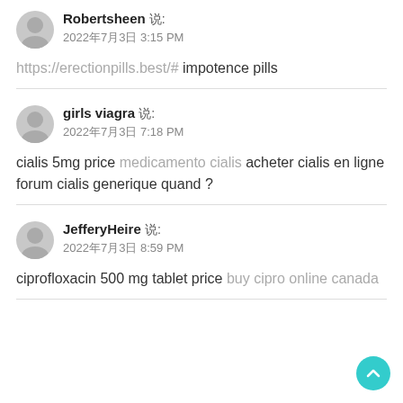Robertsheen 说: 2022年7月3日 3:15 PM
https://erectionpills.best/# impotence pills
girls viagra 说: 2022年7月3日 7:18 PM
cialis 5mg price medicamento cialis acheter cialis en ligne forum cialis generique quand ?
JefferyHeire 说: 2022年7月3日 8:59 PM
ciprofloxacin 500 mg tablet price buy cipro online canada